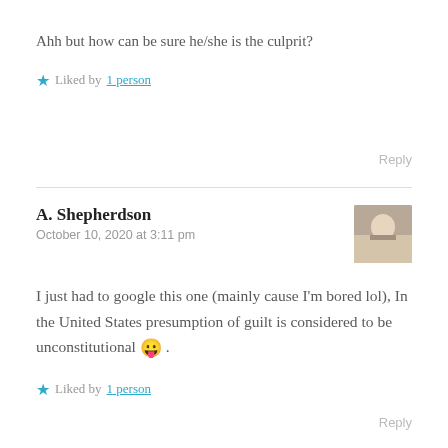Ahh but how can be sure he/she is the culprit?
★ Liked by 1 person
Reply
A. Shepherdson
October 10, 2020 at 3:11 pm
I just had to google this one (mainly cause I'm bored lol), In the United States presumption of guilt is considered to be unconstitutional 😛 .
★ Liked by 1 person
Reply